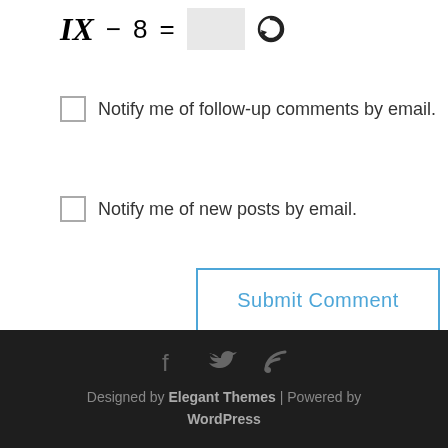[Figure (other): CAPTCHA math puzzle: IX − 8 = [input box] [reload icon]]
Notify me of follow-up comments by email.
Notify me of new posts by email.
Submit Comment
Designed by Elegant Themes | Powered by WordPress